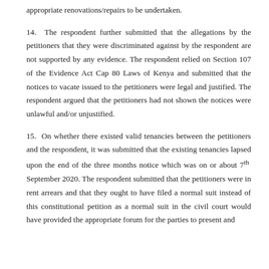appropriate renovations/repairs to be undertaken.
14. The respondent further submitted that the allegations by the petitioners that they were discriminated against by the respondent are not supported by any evidence. The respondent relied on Section 107 of the Evidence Act Cap 80 Laws of Kenya and submitted that the notices to vacate issued to the petitioners were legal and justified. The respondent argued that the petitioners had not shown the notices were unlawful and/or unjustified.
15. On whether there existed valid tenancies between the petitioners and the respondent, it was submitted that the existing tenancies lapsed upon the end of the three months notice which was on or about 7th September 2020. The respondent submitted that the petitioners were in rent arrears and that they ought to have filed a normal suit instead of this constitutional petition as a normal suit in the civil court would have provided the appropriate forum for the parties to present and